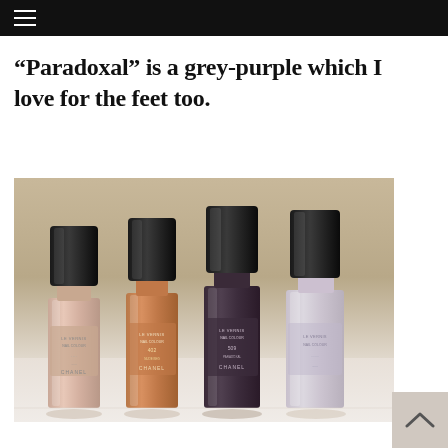☰
“Paradoxal” is a grey-purple which I love for the feet too.
[Figure (photo): Four Chanel Le Vernis Nail Colour bottles lined up: a pale pink, a warm copper/tan, a deep grey-purple (Paradoxal 509), and a light lavender, all with black caps on a white surface.]